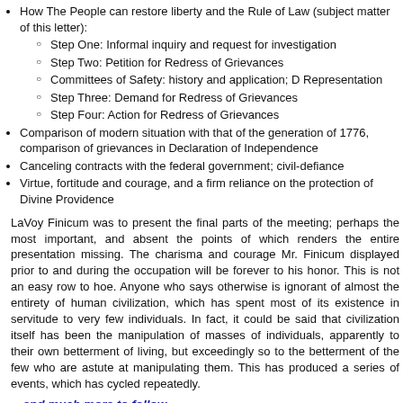How The People can restore liberty and the Rule of Law (subject matter of this letter):
Step One: Informal inquiry and request for investigation
Step Two: Petition for Redress of Grievances
Committees of Safety: history and application; D Representation
Step Three: Demand for Redress of Grievances
Step Four: Action for Redress of Grievances
Comparison of modern situation with that of the generation of 1776, grievances in Declaration of Independence
Canceling contracts with the federal government; civil-defiance
Virtue, fortitude and courage, and a firm reliance on the protection of Divine Providence
LaVoy Finicum was to present the final parts of the meeting; perhaps the most important, and absent the points of which renders the entire presentation missing. The charisma and courage Mr. Finicum displayed prior to and during the occupation will be forever to his honor. This is not an easy row to hoe. Anyone who says otherwise is ignorant of almost the entirety of human civilization, which has spent most of its existence in servitude to very few individuals. In fact, it could be said that civilization itself has been the manipulation of masses of individuals, apparently to their own betterment of living, but exceedingly so to the betterment of the few who are astute at manipulating them. This has produced a series of events, which has cycled repeatedly.
…and much more to follow